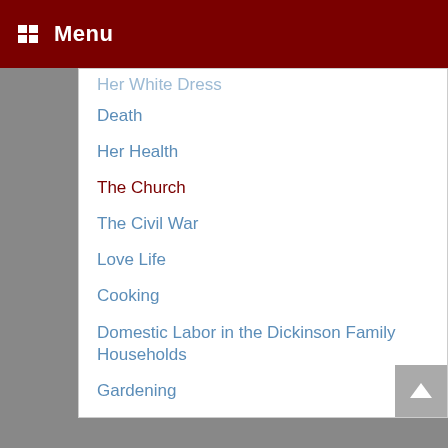Menu
Her White Dress
Death
Her Health
The Church
The Civil War
Love Life
Cooking
Domestic Labor in the Dickinson Family Households
Gardening
Schooling: Mount Holyoke Female Seminary
Schooling: Amherst Academy
The Town & the Times